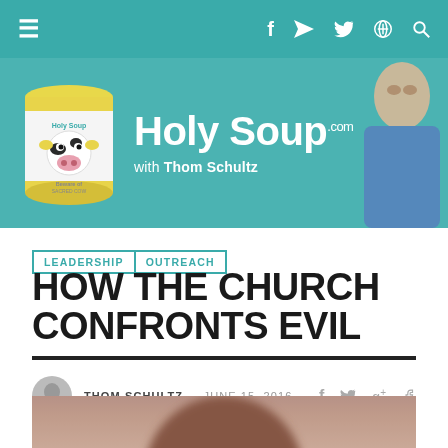≡  f  ⊃  𝕏  🔍
[Figure (logo): Holy Soup with Thom Schultz banner logo featuring a can with a cow illustration and a photo of Thom Schultz]
LEADERSHIP  OUTREACH
HOW THE CHURCH CONFRONTS EVIL
THOM SCHULTZ — JUNE 15, 2016
[Figure (photo): Partial photo showing top of a person's head with brown hair]